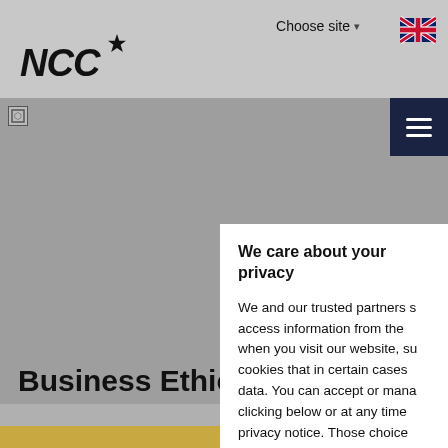[Figure (logo): NCC logo with star in black on light gray header background]
Choose site ▾
[Figure (illustration): UK flag icon (Union Jack) in top right corner of header]
[Figure (illustration): Navy blue hamburger menu button with three white horizontal bars]
[Figure (photo): Gray hero image area, broken image icon visible at top left]
Business Ethics
We care about your privacy
We and our trusted partners s access information from the when you visit our website, su cookies that in certain cases data. You can accept or mana clicking below or at any time privacy notice. Those choice